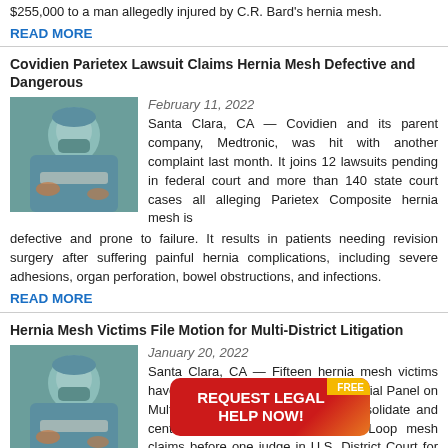$255,000 to a man allegedly injured by C.R. Bard's hernia mesh.
READ MORE
Covidien Parietex Lawsuit Claims Hernia Mesh Defective and Dangerous
[Figure (photo): Surgeon in blue scrubs and mask performing a procedure]
February 11, 2022
Santa Clara, CA — Covidien and its parent company, Medtronic, was hit with another complaint last month. It joins 12 lawsuits pending in federal court and more than 140 state court cases all alleging Parietex Composite hernia mesh is defective and prone to failure. It results in patients needing revision surgery after suffering painful hernia complications, including severe adhesions, organ perforation, bowel obstructions, and infections.
READ MORE
Hernia Mesh Victims File Motion for Multi-District Litigation
[Figure (photo): Surgeon in blue scrubs and mask performing a procedure]
January 20, 2022
Santa Clara, CA — Fifteen hernia mesh victims have filed a motion with the U.S. Judicial Panel on Multidistrict Litigation seeking to consolidate and centralize Atrium's ProLite and ProLoop mesh claims before one judge in U.S. District Court for the Central District of California.
READ MORE
[Figure (other): Red and orange CTA button: REQUEST LEGAL HELP NOW! with FREE badge]